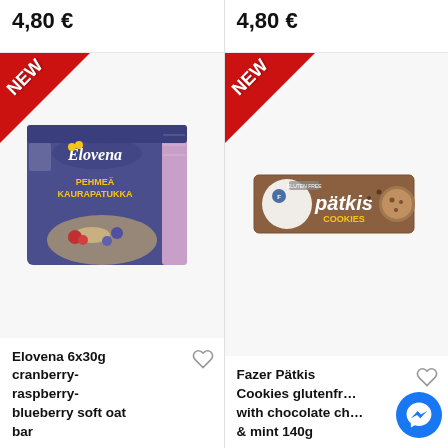4,80 €
4,80 €
[Figure (photo): Elovena 6x30g cranberry-raspberry-blueberry soft oat bar product box with NEW banner]
Elovena 6x30g cranberry-raspberry-blueberry soft oat bar
[Figure (photo): Fazer Pätkis Cookies gluten free with chocolate chips & mint 140g product box with NEW banner]
Fazer Pätkis Cookies glutenfree with chocolate chips & mint 140g